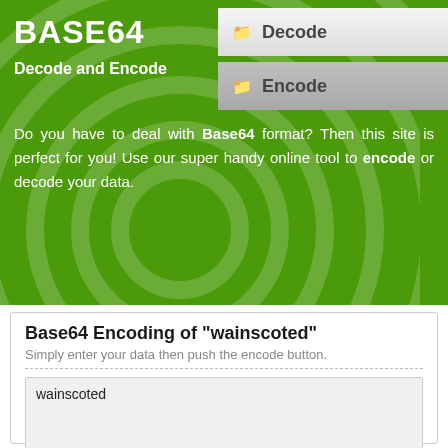BASE64
Decode and Encode
[Figure (screenshot): Decode button tab with folder icon, light gray background]
[Figure (screenshot): Encode button tab with folder icon, darker gray background]
Do you have to deal with Base64 format? Then this site is perfect for you! Use our super handy online tool to encode or decode your data.
Base64 Encoding of "wainscoted"
Simply enter your data then push the encode button.
wainscoted